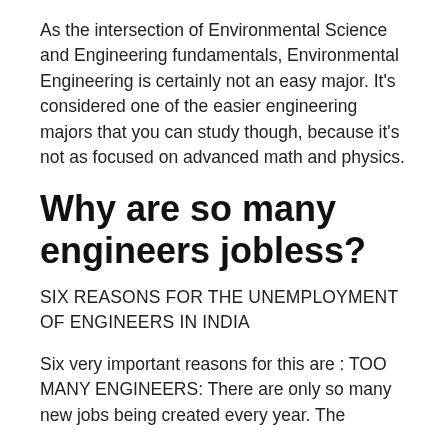As the intersection of Environmental Science and Engineering fundamentals, Environmental Engineering is certainly not an easy major. It's considered one of the easier engineering majors that you can study though, because it's not as focused on advanced math and physics.
Why are so many engineers jobless?
SIX REASONS FOR THE UNEMPLOYMENT OF ENGINEERS IN INDIA
Six very important reasons for this are : TOO MANY ENGINEERS: There are only so many new jobs being created every year. The